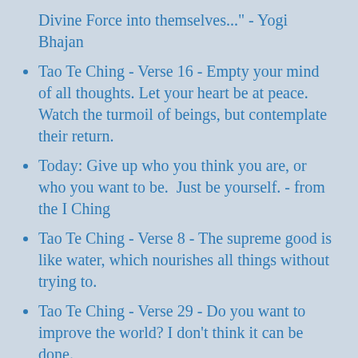Divine Force into themselves..." - Yogi Bhajan
Tao Te Ching - Verse 16 - Empty your mind of all thoughts. Let your heart be at peace. Watch the turmoil of beings, but contemplate their return.
Today: Give up who you think you are, or who you want to be.  Just be yourself. - from the I Ching
Tao Te Ching - Verse 8 - The supreme good is like water, which nourishes all things without trying to.
Tao Te Ching - Verse 29 - Do you want to improve the world? I don't think it can be done.
Today: “When you communicate, the only